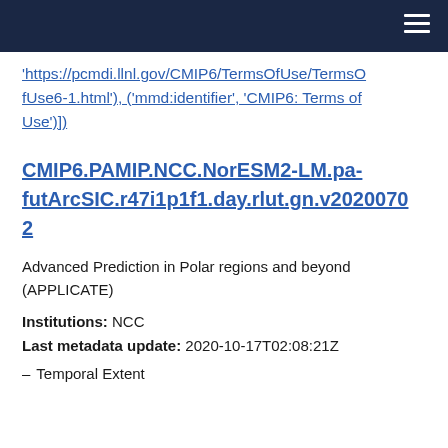navigation bar
'https://pcmdi.llnl.gov/CMIP6/TermsOfUse/TermsOfUse6-1.html'), ('mmd:identifier', 'CMIP6: Terms of Use')])
CMIP6.PAMIP.NCC.NorESM2-LM.pa-futArcSIC.r47i1p1f1.day.rlut.gn.v20200702
Advanced Prediction in Polar regions and beyond (APPLICATE)
Institutions: NCC
Last metadata update: 2020-10-17T02:08:21Z
Temporal Extent